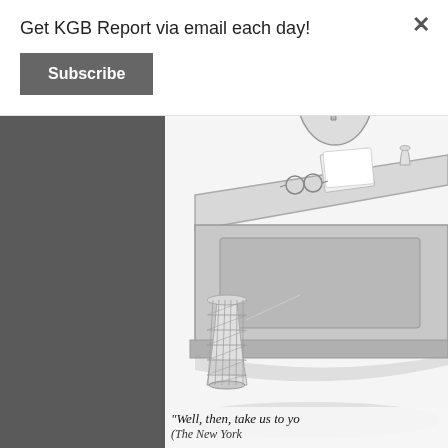Get KGB Report via email each day!
Subscribe
[Figure (illustration): New Yorker style cartoon showing a figure in a suit seated behind a large judge's bench or desk. On the desk are papers, a small cup, and eyeglasses. A wicker wastebasket sits on the floor to the left of the desk.]
"Well, then, take us to yo... (The New York...